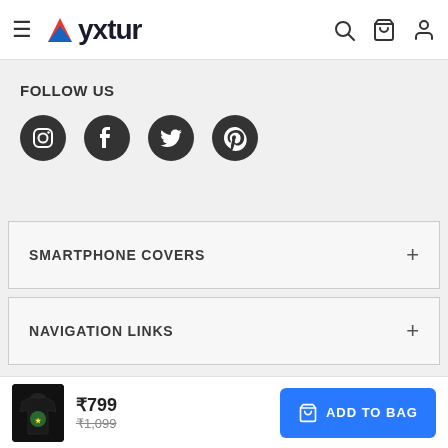Myxtur — hamburger menu, search, bag, account icons
FOLLOW US
[Figure (illustration): Four circular social media icons: Instagram, Facebook, Twitter, Pinterest]
SMARTPHONE COVERS +
NAVIGATION LINKS +
Product thumbnail | ₹799 | ₹1,099 | ADD TO BAG